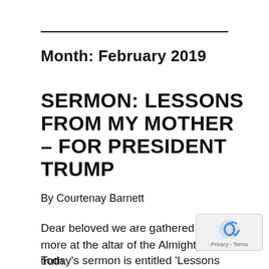Month: February 2019
SERMON: LESSONS FROM MY MOTHER – FOR PRESIDENT TRUMP
By Courtenay Barnett
Dear beloved we are gathered once more at the altar of the Almighty truth.
Today's sermon is entitled 'Lessons from my